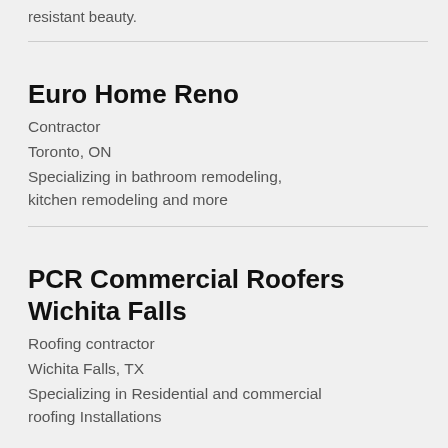resistant beauty.
Euro Home Reno
Contractor
Toronto, ON
Specializing in bathroom remodeling, kitchen remodeling and more
PCR Commercial Roofers Wichita Falls
Roofing contractor
Wichita Falls, TX
Specializing in Residential and commercial roofing Installations